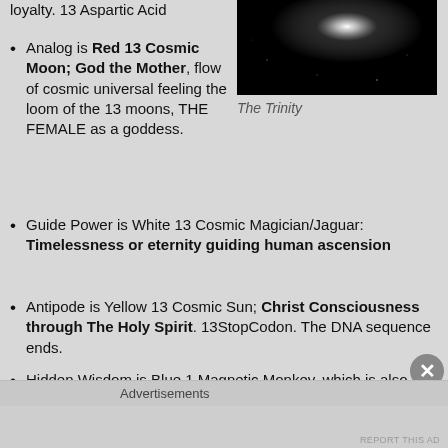loyalty. 13 Aspartic Acid
[Figure (photo): Dark astronomy/space photo showing a bright light source against a black background — The Trinity]
The Trinity
Analog is Red 13 Cosmic Moon; God the Mother, flow of cosmic universal feeling the loom of the 13 moons, THE FEMALE as a goddess.
Guide Power is White 13 Cosmic Magician/Jaguar: Timelessness or eternity guiding human ascension
Antipode is Yellow 13 Cosmic Sun; Christ Consciousness through The Holy Spirit. 13StopCodon. The DNA sequence ends.
Hidden Wisdom is Blue 1 Magnetic Monkey, which is also tomorrow's theme. A human being has been born
Advertisements